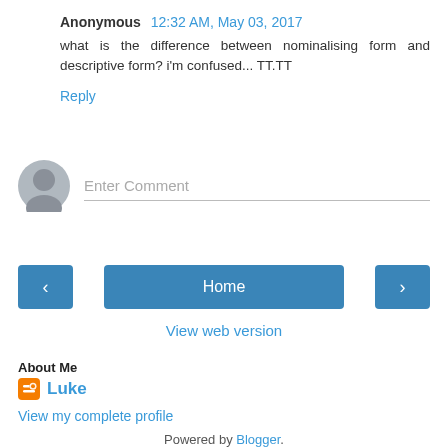Anonymous  12:32 AM, May 03, 2017
what is the difference between nominalising form and descriptive form? i'm confused... TT.TT
Reply
[Figure (other): Comment input area with avatar placeholder and 'Enter Comment' text field]
[Figure (other): Navigation bar with left arrow button, Home button, and right arrow button]
View web version
About Me
Luke
View my complete profile
Powered by Blogger.